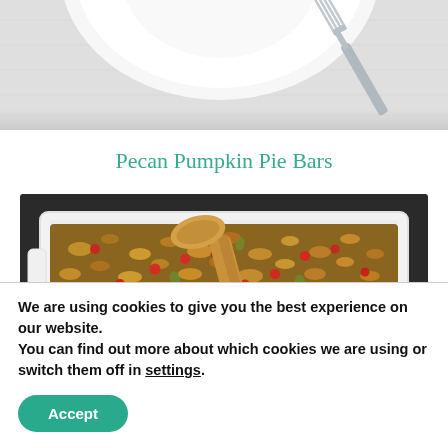[Figure (photo): Top portion of a food photo showing a white plate and a silver fork on a light gray/white linen background]
Pecan Pumpkin Pie Bars
[Figure (photo): A white rectangular baking dish filled with granola or a nut-and-oat crumble topping with red cranberries, with a wooden spoon resting across it, and a slice of orange/pear fruit in the bottom right corner]
We are using cookies to give you the best experience on our website.
You can find out more about which cookies we are using or switch them off in settings.
Accept